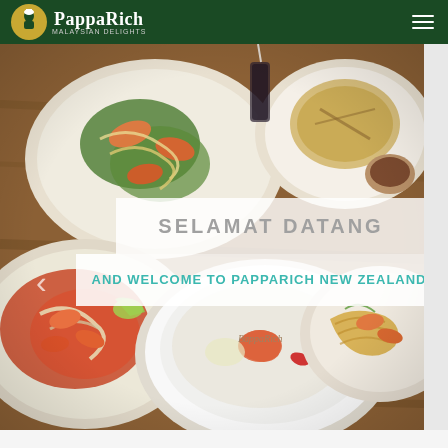PappaRich Malaysian Delights - Navigation Header
[Figure (photo): Hero image showing various Malaysian dishes including noodle dishes, prawn soup, roti, and stir-fried dishes arranged on a wooden table. PappaRich branded bowl and spoon visible in foreground.]
SELAMAT DATANG
AND WELCOME TO PAPPARICH NEW ZEALAND